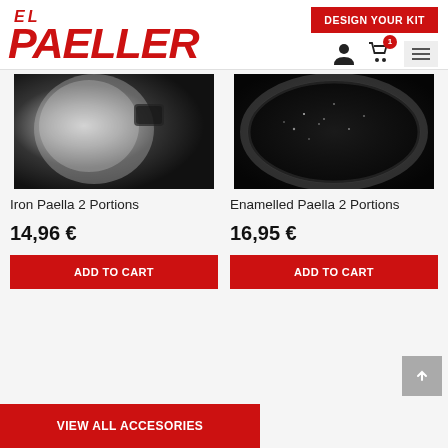[Figure (logo): El Paeller logo in bold red italic text]
DESIGN YOUR KIT
[Figure (infographic): Product listing page showing Iron Paella 2 Portions and Enamelled Paella 2 Portions with prices and Add to Cart buttons]
Iron Paella 2 Portions
14,96 €
ADD TO CART
Enamelled Paella 2 Portions
16,95 €
ADD TO CART
VIEW ALL ACCESORIES